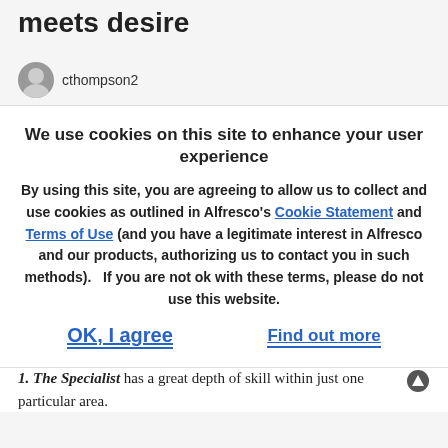meets desire
cthompson2
We use cookies on this site to enhance your user experience
By using this site, you are agreeing to allow us to collect and use cookies as outlined in Alfresco's Cookie Statement and Terms of Use (and you have a legitimate interest in Alfresco and our products, authorizing us to contact you in such methods).   If you are not ok with these terms, please do not use this website.
OK, I agree
Find out more
Cross-skilling refers to the breadth and depth of skills that a person may have. We can consider three alternatives.
1. The Specialist has a great depth of skill within just one particular area.